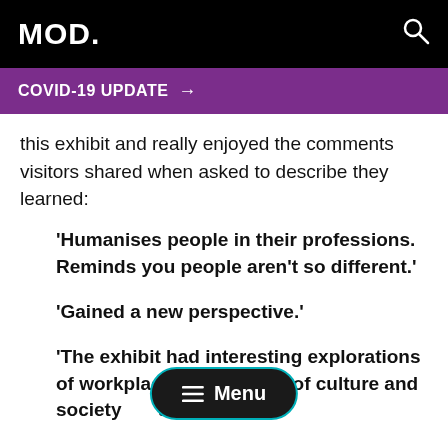MOD.
COVID-19 UPDATE →
this exhibit and really enjoyed the comments visitors shared when asked to describe they learned:
'Humanises people in their professions. Reminds you people aren't so different.'
'Gained a new perspective.'
'The exhibit had interesting explorations of workplace happiness a… of culture and society … al well-being…'